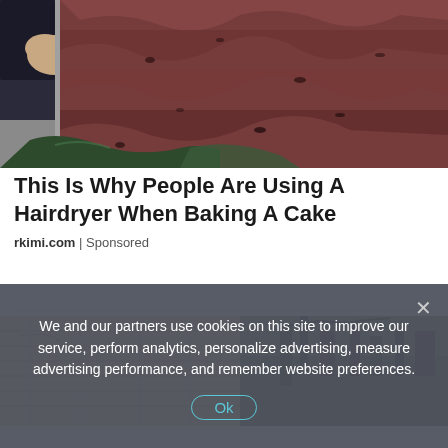[Figure (photo): Close-up photo of a chocolate layer cake with dark pink/red frosting being held or cut, with a dark plate/spatula visible at bottom left]
This Is Why People Are Using A Hairdryer When Baking A Cake
rkimi.com | Sponsored
[Figure (photo): Outdoor scene with wooden planks/fence on left and industrial or military structures on right, muted brown/grey tones]
We and our partners use cookies on this site to improve our service, perform analytics, personalize advertising, measure advertising performance, and remember website preferences.
Ok